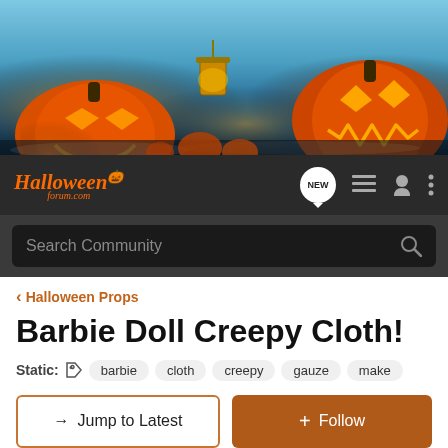[Figure (photo): Halloween banner with glowing jack-o-lanterns and lantern on a dark background]
[Figure (logo): HalloweenForum.com logo with navigation icons including NEW badge, list icon, user icon, and menu icon]
Search Community
< Halloween Props
Barbie Doll Creepy Cloth!
Static: barbie  cloth  creepy  gauze  make
→ Jump to Latest
+ Follow
59 DAYS  18 HOURS  14 MINUTES  6 SECONDS  until Halloween!